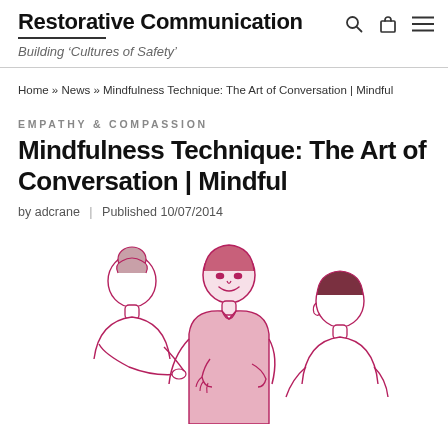Restorative Communication — Building 'Cultures of Safety'
Home » News » Mindfulness Technique: The Art of Conversation | Mindful
EMPATHY & COMPASSION
Mindfulness Technique: The Art of Conversation | Mindful
by adcrane  |  Published 10/07/2014
[Figure (illustration): Line illustration in pink/crimson of three people in conversation — a person on the left seen from behind with hair up, a central standing man facing forward smiling, and a person on the right seen from behind with short hair.]